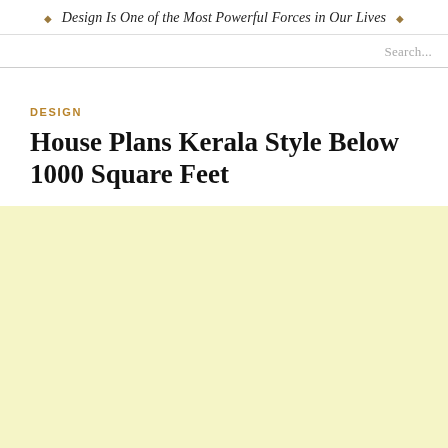Design Is One of the Most Powerful Forces in Our Lives
Search...
DESIGN
House Plans Kerala Style Below 1000 Square Feet
[Figure (illustration): Light yellow/cream colored background rectangle filling lower portion of page]